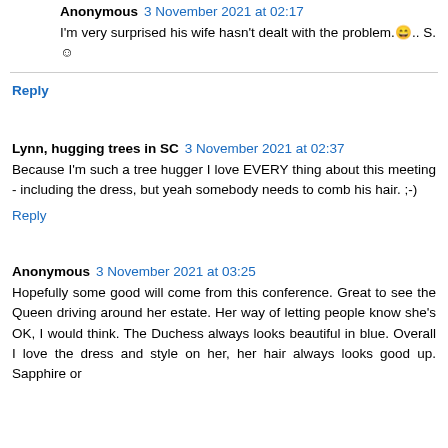Anonymous  3 November 2021 at 02:17
I'm very surprised his wife hasn't dealt with the problem.😄.. S. ☺
Reply
Lynn, hugging trees in SC  3 November 2021 at 02:37
Because I'm such a tree hugger I love EVERY thing about this meeting - including the dress, but yeah somebody needs to comb his hair. ;-)
Reply
Anonymous  3 November 2021 at 03:25
Hopefully some good will come from this conference. Great to see the Queen driving around her estate. Her way of letting people know she's OK, I would think. The Duchess always looks beautiful in blue. Overall I love the dress and style on her, her hair always looks good up. Sapphire or